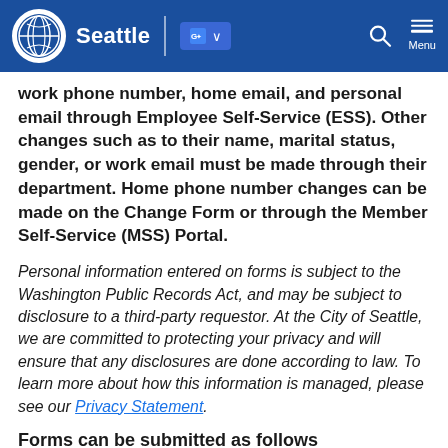Seattle
work phone number, home email, and personal email through Employee Self-Service (ESS).  Other changes such as to their name, marital status, gender, or work email must be made through their department.  Home phone number changes can be made on the Change Form or through the Member Self-Service (MSS) Portal.
Personal information entered on forms is subject to the Washington Public Records Act, and may be subject to disclosure to a third-party requestor.  At the City of Seattle, we are committed to protecting your privacy and will ensure that any disclosures are done according to law.  To learn more about how this information is managed, please see our Privacy Statement.
Forms can be submitted as follows